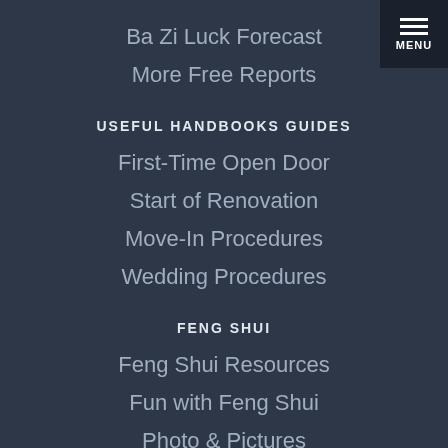Ba Zi Luck Forecast
More Free Reports
USEFUL HANDBOOKS GUIDES
First-Time Open Door
Start of Renovation
Move-In Procedures
Wedding Procedures
FENG SHUI
Feng Shui Resources
Fun with Feng Shui
Photo & Pictures